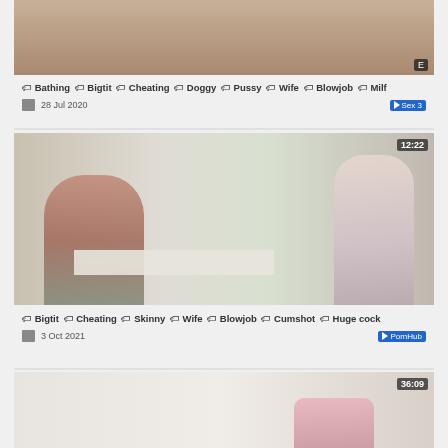[Figure (screenshot): Top partial video thumbnail showing legs/bathroom scene]
🏷 Bathing 🏷 Bigtit 🏷 Cheating 🏷 Doggy 🏷 Pussy 🏷 Wife 🏷 Blowjob 🏷 Milf
28 Jul 2020 | Sex 3
[Figure (screenshot): Video thumbnail showing muscular man leaning over table and blonde woman in patterned robe on phone, duration 12:22]
🏷 Bigtit 🏷 Cheating 🏷 Skinny 🏷 Wife 🏷 Blowjob 🏷 Cumshot 🏷 Huge cock
3 Oct 2021 | PornHub
[Figure (screenshot): Partial video thumbnail at bottom, duration 36:09]